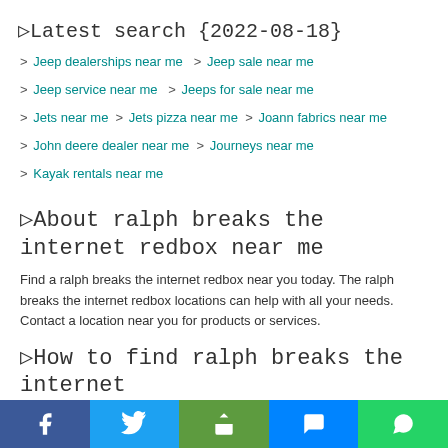▷Latest search {2022-08-18}
> Jeep dealerships near me  > Jeep sale near me
> Jeep service near me   > Jeeps for sale near me
> Jets near me  > Jets pizza near me  > Joann fabrics near me
> John deere dealer near me  > Journeys near me
> Kayak rentals near me
▷About ralph breaks the internet redbox near me
Find a ralph breaks the internet redbox near you today. The ralph breaks the internet redbox locations can help with all your needs. Contact a location near you for products or services.
▷How to find ralph breaks the internet